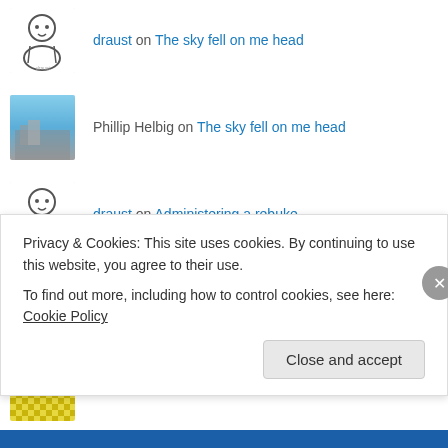draust on The sky fell on me head
Phillip Helbig on The sky fell on me head
draust on Administering a rebuke
draust on Plants make chemicals too.
Grumpy Oldman on Administering a rebuke
Diego Fox on Plants make chemicals too.
Top Posts
Privacy & Cookies: This site uses cookies. By continuing to use this website, you agree to their use. To find out more, including how to control cookies, see here: Cookie Policy
Close and accept